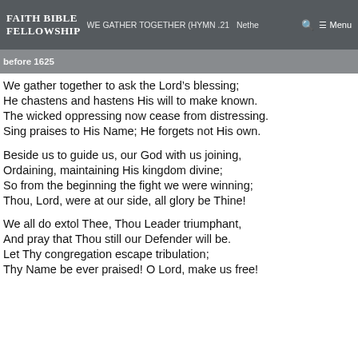FAITH BIBLE FELLOWSHIP — WE GATHER TOGETHER (HYMN .21) Netherlands before 1625 — Menu
before 1625
We gather together to ask the Lord's blessing;
He chastens and hastens His will to make known.
The wicked oppressing now cease from distressing.
Sing praises to His Name; He forgets not His own.
Beside us to guide us, our God with us joining,
Ordaining, maintaining His kingdom divine;
So from the beginning the fight we were winning;
Thou, Lord, were at our side, all glory be Thine!
We all do extol Thee, Thou Leader triumphant,
And pray that Thou still our Defender will be.
Let Thy congregation escape tribulation;
Thy Name be ever praised! O Lord, make us free!